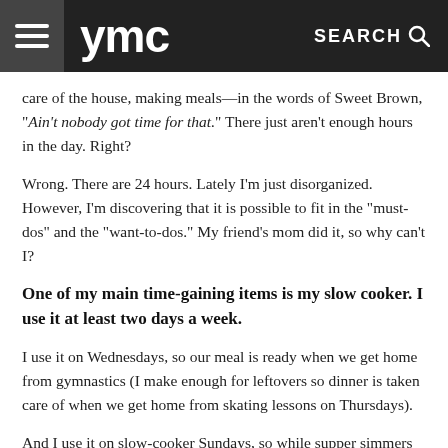ymc  SEARCH
care of the house, making meals—in the words of Sweet Brown, "Ain't nobody got time for that." There just aren't enough hours in the day. Right?
Wrong. There are 24 hours. Lately I'm just disorganized. However, I'm discovering that it is possible to fit in the "must-dos" and the "want-to-dos." My friend's mom did it, so why can't I?
One of my main time-gaining items is my slow cooker. I use it at least two days a week.
I use it on Wednesdays, so our meal is ready when we get home from gymnastics (I make enough for leftovers so dinner is taken care of when we get home from skating lessons on Thursdays).
And I use it on slow-cooker Sundays, so while supper simmers away, I actually have time to play, knowing that